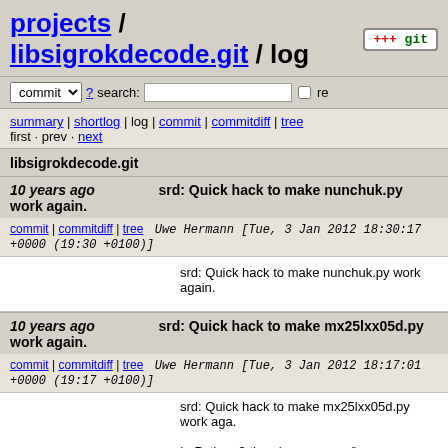projects / libsigrokdecode.git / log
commit ? search: re
summary | shortlog | log | commit | commitdiff | tree
first · prev · next
libsigrokdecode.git
10 years ago   srd: Quick hack to make nunchuk.py work again.
commit | commitdiff | tree   Uwe Hermann [Tue, 3 Jan 2012 18:30:17 +0000 (19:30 +0100)]
srd: Quick hack to make nunchuk.py work again.
10 years ago   srd: Quick hack to make mx25lxx05d.py work again.
commit | commitdiff | tree   Uwe Hermann [Tue, 3 Jan 2012 18:17:01 +0000 (19:17 +0100)]
srd: Quick hack to make mx25lxx05d.py work again.
In Python 3 there's no xrange() anymore, only ran
10 years ago   srd: Quick hack to make